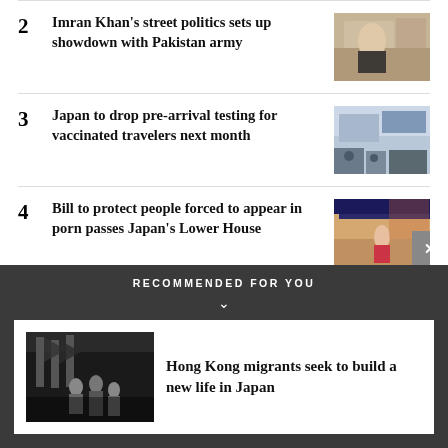2  Imran Khan's street politics sets up showdown with Pakistan army
3  Japan to drop pre-arrival testing for vaccinated travelers next month
4  Bill to protect people forced to appear in porn passes Japan's Lower House
RECOMMENDED FOR YOU
Hong Kong migrants seek to build a new life in Japan